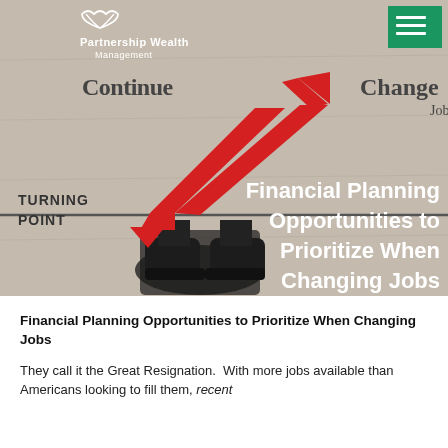[Figure (photo): Hero image of a person's feet at a turning point sign with arrows pointing 'Continue' and 'Change Jobs', with financial planning article title overlaid in white text on a grey background.]
Financial Planning Opportunities to Prioritize When Changing Jobs
They call it the Great Resignation.  With more jobs available than Americans looking to fill them, recent...